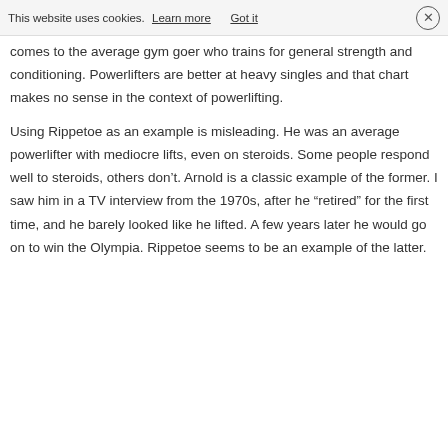This website uses cookies. Learn more  Got it  ×
comes to the average gym goer who trains for general strength and conditioning. Powerlifters are better at heavy singles and that chart makes no sense in the context of powerlifting.
Using Rippetoe as an example is misleading. He was an average powerlifter with mediocre lifts, even on steroids. Some people respond well to steroids, others don't. Arnold is a classic example of the former. I saw him in a TV interview from the 1970s, after he “retired” for the first time, and he barely looked like he lifted. A few years later he would go on to win the Olympia. Rippetoe seems to be an example of the latter.